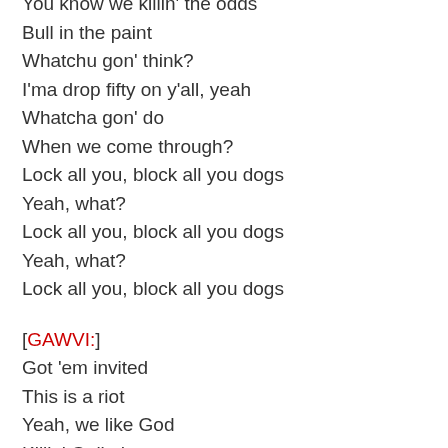You know we killin' the odds
Bull in the paint
Whatchu gon' think?
I'ma drop fifty on y'all, yeah
Whatcha gon' do
When we come through?
Lock all you, block all you dogs
Yeah, what?
Lock all you, block all you dogs
Yeah, what?
Lock all you, block all you dogs
[GAWVI:]
Got 'em invited
This is a riot
Yeah, we like God
Killin' Goliath, aye
Don't need your guidance